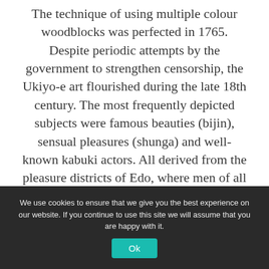The technique of using multiple colour woodblocks was perfected in 1765. Despite periodic attempts by the government to strengthen censorship, the Ukiyo-e art flourished during the late 18th century. The most frequently depicted subjects were famous beauties (bijin), sensual pleasures (shunga) and well-known kabuki actors. All derived from the pleasure districts of Edo, where men of all classes went to escape the rigid hierarchy of feudal society.
We use cookies to ensure that we give you the best experience on our website. If you continue to use this site we will assume that you are happy with it.